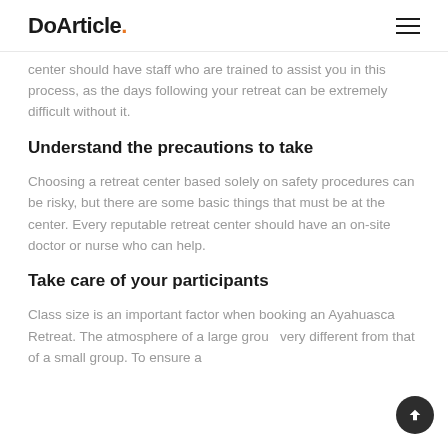DoArticle.
center should have staff who are trained to assist you in this process, as the days following your retreat can be extremely difficult without it.
Understand the precautions to take
Choosing a retreat center based solely on safety procedures can be risky, but there are some basic things that must be at the center. Every reputable retreat center should have an on-site doctor or nurse who can help.
Take care of your participants
Class size is an important factor when booking an Ayahuasca Retreat. The atmosphere of a large group very different from that of a small group. To ensure a